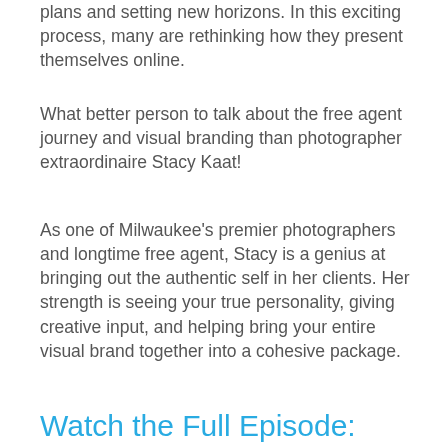plans and setting new horizons. In this exciting process, many are rethinking how they present themselves online.
What better person to talk about the free agent journey and visual branding than photographer extraordinaire Stacy Kaat!
As one of Milwaukee's premier photographers and longtime free agent, Stacy is a genius at bringing out the authentic self in her clients. Her strength is seeing your true personality, giving creative input, and helping bring your entire visual brand together into a cohesive package.
Watch the Full Episode: